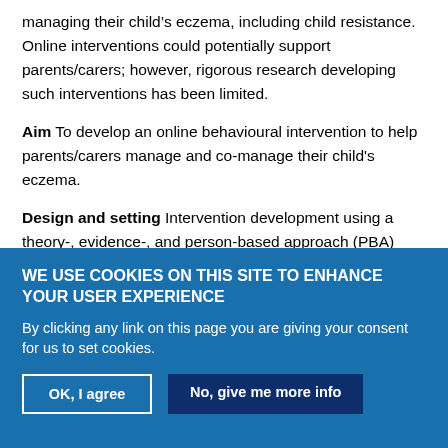managing their child's eczema, including child resistance. Online interventions could potentially support parents/carers; however, rigorous research developing such interventions has been limited.
Aim To develop an online behavioural intervention to help parents/carers manage and co-manage their child's eczema.
Design and setting Intervention development using a theory-, evidence-, and person-based approach (PBA) with qualitative research.
Method A systematic review and qualitative synthesis of studies (n =
WE USE COOKIES ON THIS SITE TO ENHANCE YOUR USER EXPERIENCE
By clicking any link on this page you are giving your consent for us to set cookies.